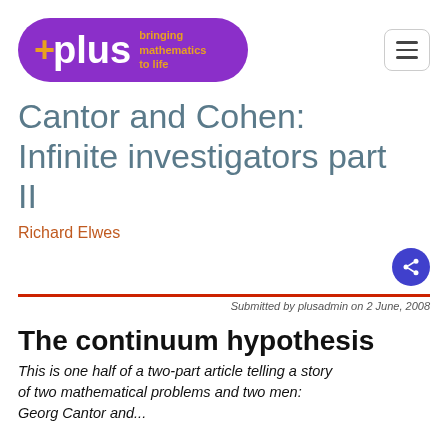[Figure (logo): Plus magazine logo — purple pill shape with '+plus' text and 'bringing mathematics to life' tagline in orange, alongside a hamburger menu button]
Cantor and Cohen: Infinite investigators part II
Richard Elwes
Submitted by plusadmin on 2 June, 2008
The continuum hypothesis
This is one half of a two-part article telling a story of two mathematical problems and two men: Georg Cantor and...